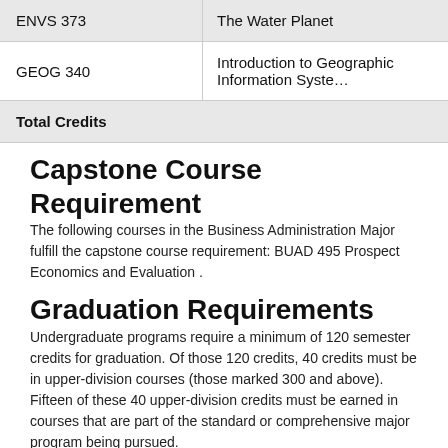| ENVS 373 | The Water Planet |
| GEOG 340 | Introduction to Geographic Information Systems |
| Total Credits |  |
Capstone Course Requirement
The following courses in the Business Administration Major fulfill the capstone course requirement: BUAD 495 Prospect Economics and Evaluation .
Graduation Requirements
Undergraduate programs require a minimum of 120 semester credits for graduation.  Of those 120 credits, 40 credits must be in upper-division courses (those marked 300 and above).  Fifteen of these 40 upper-division credits must be earned in courses that are part of the standard or comprehensive major program being pursued.